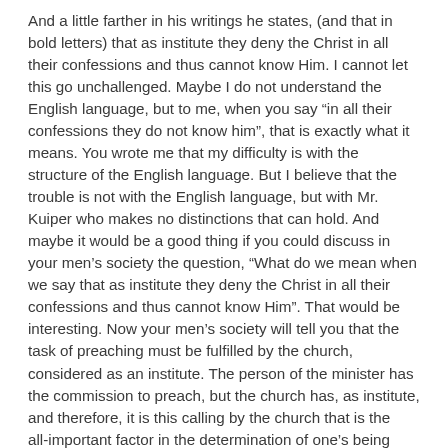And a little farther in his writings he states, (and that in bold letters) that as institute they deny the Christ in all their confessions and thus cannot know Him. I cannot let this go unchallenged. Maybe I do not understand the English language, but to me, when you say "in all their confessions they do not know him", that is exactly what it means. You wrote me that my difficulty is with the structure of the English language. But I believe that the trouble is not with the English language, but with Mr. Kuiper who makes no distinctions that can hold. And maybe it would be a good thing if you could discuss in your men's society the question, "What do we mean when we say that as institute they deny the Christ in all their confessions and thus cannot know Him". That would be interesting. Now your men's society will tell you that the task of preaching must be fulfilled by the church, considered as an institute. The person of the minister has the commission to preach, but the church has, as institute, and therefore, it is this calling by the church that is the all-important factor in the determination of one's being sent by Christ to preach the Gospel. "How shall they preach except they be sent?" Now this preaching of the Word is indispensable to faith in Christ, it is the work of Christ